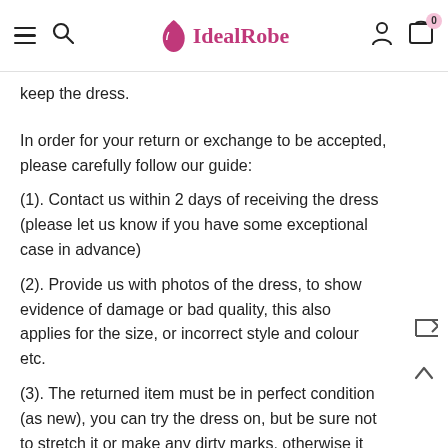IdealRobe — navigation bar with hamburger menu, search, logo, user icon, cart (0)
keep the dress.
In order for your return or exchange to be accepted, please carefully follow our guide:
(1). Contact us within 2 days of receiving the dress (please let us know if you have some exceptional case in advance)
(2). Provide us with photos of the dress, to show evidence of damage or bad quality, this also applies for the size, or incorrect style and colour etc.
(3). The returned item must be in perfect condition (as new), you can try the dress on, but be sure not to stretch it or make any dirty marks, otherwise it will not be accepted.
(4). The tracking number of the returned item must be provided together with the reference code issued.
(5). If you prefer to exchange dresses, then a price difference will be charged if more expensive.
(6). You are required to pay for the shipping fee to return or